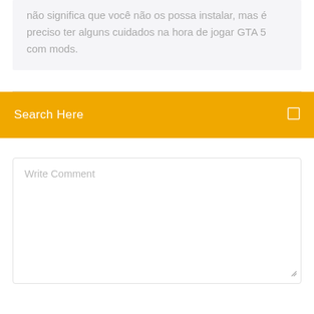não significa que você não os possa instalar, mas é preciso ter alguns cuidados na hora de jogar GTA 5 com mods.
Search Here
Write Comment